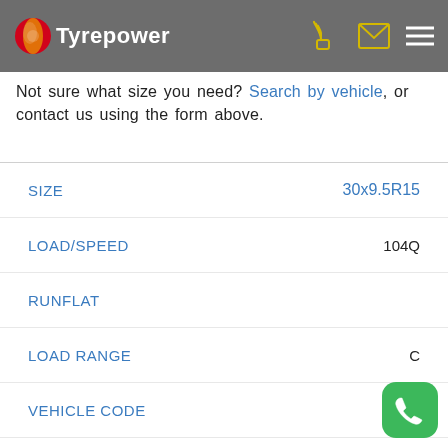Tyrepower
Not sure what size you need? Search by vehicle, or contact us using the form above.
| Field | Value |
| --- | --- |
| SIZE | 30x9.5R15 |
| LOAD/SPEED | 104Q |
| RUNFLAT |  |
| LOAD RANGE | C |
| VEHICLE CODE |  |
| TECHNOLOGY | Armor-TEK3 |
| SIZE | 31x10.5R15 |
| LOAD/SPEED | 109Q |
| RUNFLAT |  |